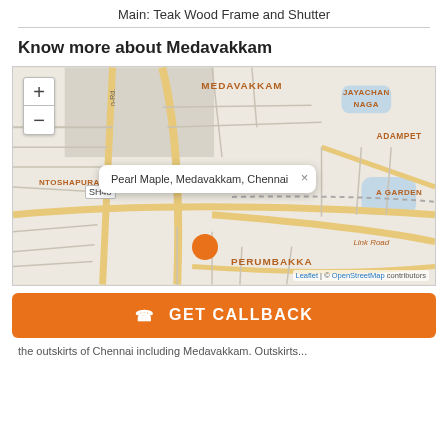Main: Teak Wood Frame and Shutter
Know more about Medavakkam
[Figure (map): OpenStreetMap showing Medavakkam area in Chennai with a location pin for Pearl Maple, Medavakkam, Chennai. Shows neighborhood labels: MEDAVAKKAM, JAYACHAN NAGAR, ADAMPET, NTOSHAPURAM, A GARDEN, PERUMBAKKA, Link Road, SH48. Has zoom controls (+/-) and Leaflet/OpenStreetMap attribution.]
📞 GET CALLBACK
the outskirts of Chennai including Medavakkam. Outskirts...